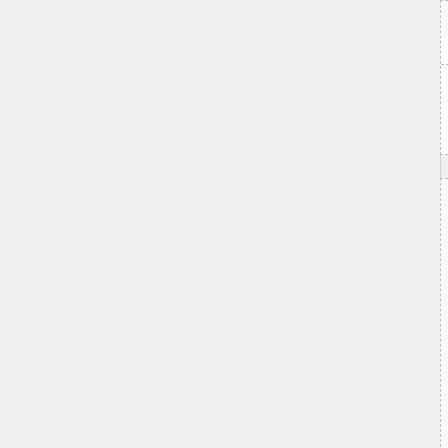[Figure (screenshot): Screenshot of a web interface showing product/image cards in a grid layout. Each card has a dashed border, an image area, a text label with an ID code (20180811UGANDA11!, 20180813UGANDA13!), and action icons (green heart-plus, chain link, red plus, blue shopping cart). The left portion of the page shows a grey panel. Cards are partially cropped on the right edge.]